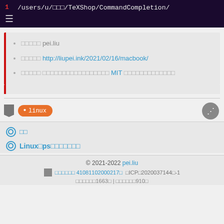1  /users/u/□□□/TeXShop/CommandCompletion/
□□□□□ pei.liu
□□□□□ http://liupei.ink/2021/02/16/macbook/
□□□□□ □□□□□□□□□□□□□□□□□ MIT □□□□□□□□□□□□□
• linux
◎ □□
◎ Linux□ps□□□□□□□
© 2021-2022 pei.liu
□□□□□□ 41081102000217□  □ICP□2020037144□-1
□□□□□□1663□ | □□□□□□910□